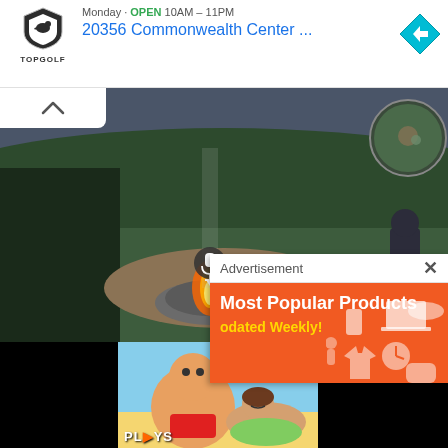[Figure (screenshot): Google Maps style top bar showing Topgolf logo/shield, open hours partial text, address '20356 Commonwealth Center ...', and a blue navigation arrow icon on the right]
[Figure (screenshot): Video game screenshot showing a campfire scene with characters in a grassy outdoor environment, with a mini-map in top-right corner and a chevron-up button overlay]
[Figure (screenshot): Advertisement overlay: white header reading 'Advertisement' with X close button, orange body with text 'Most Popular Products' and 'odated Weekly!' in yellow, with white product icons on the right]
[Figure (screenshot): Bottom strip showing video thumbnails: black area left, colorful cartoon/anime game thumbnails in center with PLAYS text, black area right, and a circled X close button top-right]